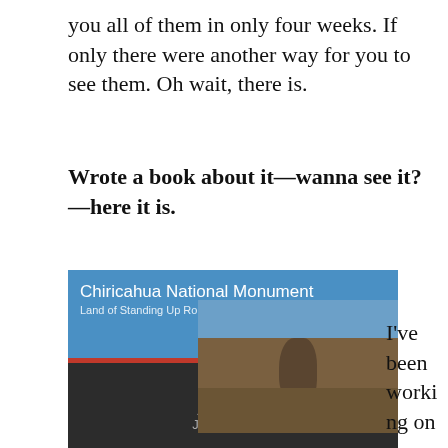you all of them in only four weeks. If only there were another way for you to see them. Oh wait, there is.
Wrote a book about it—wanna see it?—here it is.
[Figure (photo): Book cover for 'Chiricahua National Monument: Land of Standing Up Rocks', A Photo Essay By Jim Witkowski. Blue header with white text, a photo of a balanced rock formation in the desert, red stripe, dark bottom section with byline.]
I've been working on a book while